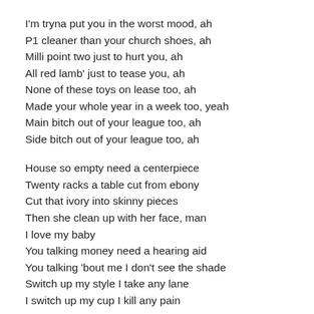I'm tryna put you in the worst mood, ah
P1 cleaner than your church shoes, ah
Milli point two just to hurt you, ah
All red lamb' just to tease you, ah
None of these toys on lease too, ah
Made your whole year in a week too, yeah
Main bitch out of your league too, ah
Side bitch out of your league too, ah
House so empty need a centerpiece
Twenty racks a table cut from ebony
Cut that ivory into skinny pieces
Then she clean up with her face, man
I love my baby
You talking money need a hearing aid
You talking 'bout me I don't see the shade
Switch up my style I take any lane
I switch up my cup I kill any pain